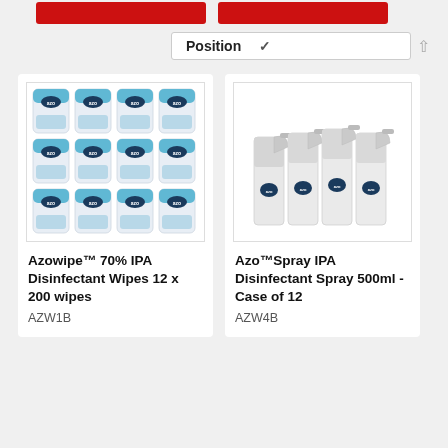[Figure (screenshot): Two red button banners at the top of an e-commerce product listing page]
Position
[Figure (photo): 12 cans of Azowipe 70% IPA Disinfectant Wipes arranged in a 4x3 grid]
Azowipe™ 70% IPA Disinfectant Wipes 12 x 200 wipes
AZW1B
[Figure (photo): 4 spray bottles of Azo Spray IPA Disinfectant Spray 500ml arranged in a row]
Azo™Spray IPA Disinfectant Spray 500ml - Case of 12
AZW4B